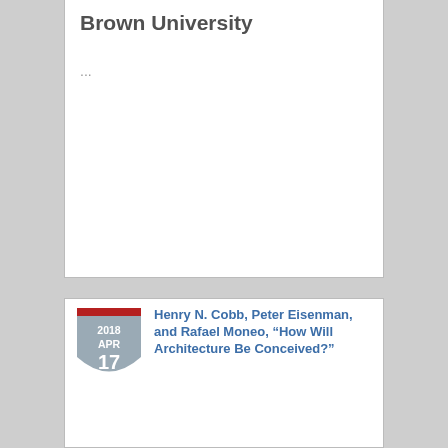Brown University
...
[Figure (illustration): Calendar badge icon showing 2018 APR 17, shield/badge shape with red top bar and gray body]
Henry N. Cobb, Peter Eisenman, and Rafael Moneo, “How Will Architecture Be Conceived?”
6:30pm to 8:00pm
Location: Harvard Graduate School of Design, Gund Hall, Piper Auditorium, Room 105, 48 Quincy St., Cambridge
Please join us for an evening with